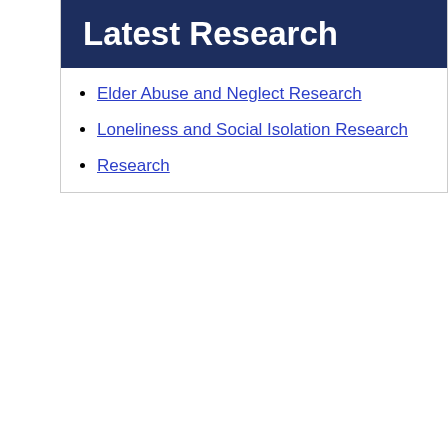Latest Research
Elder Abuse and Neglect Research
Loneliness and Social Isolation Research
Research
Find your n
Enter your post code
News and Events